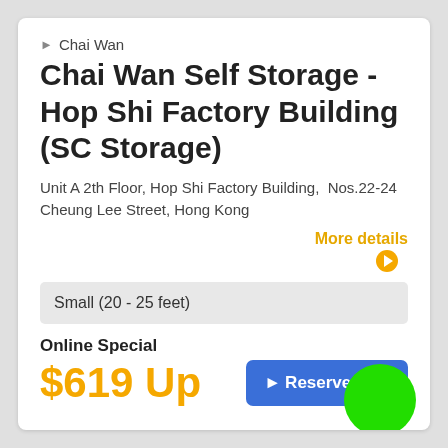▶  Chai Wan
Chai Wan Self Storage - Hop Shi Factory Building (SC Storage)
Unit A 2th Floor, Hop Shi Factory Building,  Nos.22-24 Cheung Lee Street, Hong Kong
More details ▶
Small (20 - 25 feet)
Online Special
$619 Up
▶Reserve now